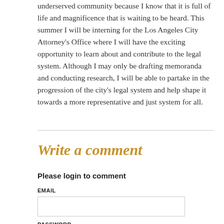underserved community because I know that it is full of life and magnificence that is waiting to be heard. This summer I will be interning for the Los Angeles City Attorney's Office where I will have the exciting opportunity to learn about and contribute to the legal system. Although I may only be drafting memoranda and conducting research, I will be able to partake in the progression of the city's legal system and help shape it towards a more representative and just system for all.
Write a comment
Please login to comment
EMAIL
PASSWORD